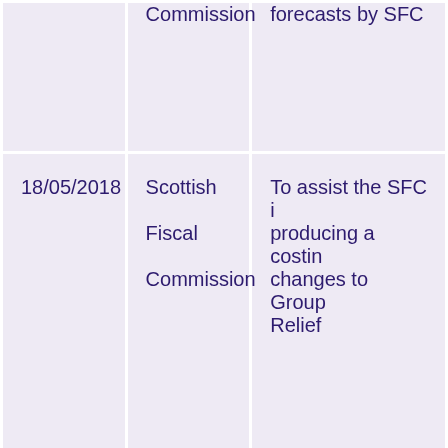| Date | Organisation | Purpose |
| --- | --- | --- |
|  | Commission | forecasts by SFC |
| 18/05/2018 | Scottish Fiscal Commission | To assist the SFC in producing a costing changes to Group Relief |
| 24/11/2017 | Scottish Fiscal Commission | Background data for production of LBTT forecasts by SFC |
| 05/09/2017 | Scottish Fiscal | Forecast evaluation |